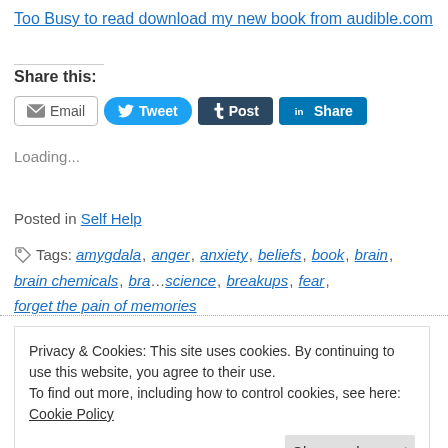Too Busy to read download my new book from audible.com
Share this:
Email  Tweet  Post  Share
Loading...
Posted in Self Help
Tags: amygdala, anger, anxiety, beliefs, book, brain, brain chemicals, brain science, breakups, fear, forget the pain of memories
Privacy & Cookies: This site uses cookies. By continuing to use this website, you agree to their use. To find out more, including how to control cookies, see here: Cookie Policy
Close and accept